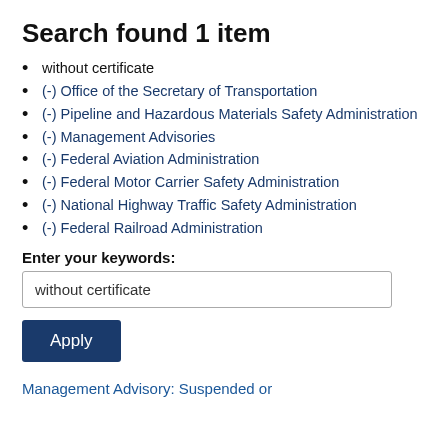Search found 1 item
without certificate
(-) Office of the Secretary of Transportation
(-) Pipeline and Hazardous Materials Safety Administration
(-) Management Advisories
(-) Federal Aviation Administration
(-) Federal Motor Carrier Safety Administration
(-) National Highway Traffic Safety Administration
(-) Federal Railroad Administration
Enter your keywords:
without certificate
Apply
Management Advisory: Suspended or